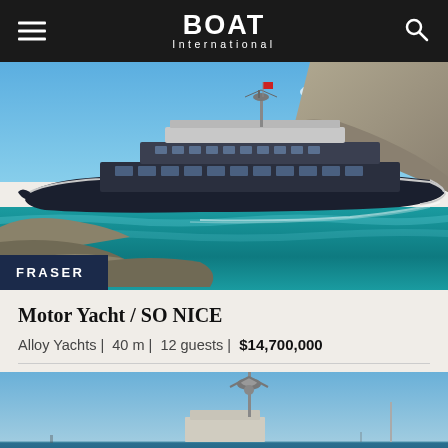BOAT International
[Figure (photo): Large motor yacht SO NICE cruising near rocky coastline with turquoise water, FRASER broker badge overlay bottom-left]
Motor Yacht / SO NICE
Alloy Yachts |  40 m |  12 guests |  $14,700,000
[Figure (photo): Partial view of a motor yacht superstructure with communications mast against blue sky and water]